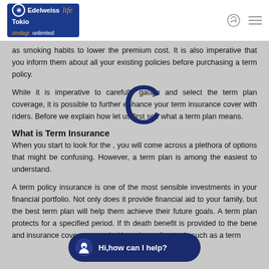Edelweiss Tokio life zindagi unlimited
as smoking habits to lower the premium cost. It is also imperative that you inform them about all your existing policies before purchasing a term policy.
While it is imperative to carefully gauge and select the term plan coverage, it is possible to further enhance your term insurance cover with riders. Before we explain how let us first see what a term plan means.
What is Term Insurance
When you start to look for the , you will come across a plethora of options that might be confusing. However, a term plan is among the easiest to understand.
A term policy insurance is one of the most sensible investments in your financial portfolio. Not only does it provide financial aid to your family, but the best term plan will help them achieve their future goals. A term plan protects for a specified period. If th death benefit is provided to the bene and insurance coverage needed by using online tools such as a term